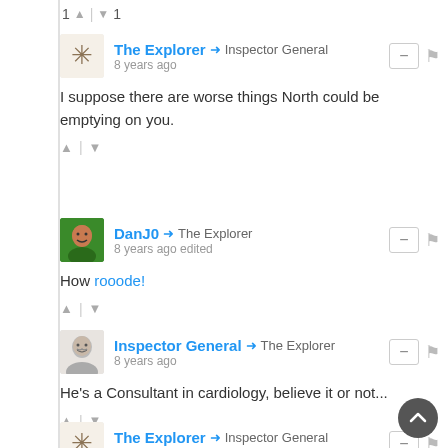1 ▲ | ▼ 1
The Explorer → Inspector General
8 years ago
I suppose there are worse things North could be emptying on you.
▲ | ▼
DanJ0 → The Explorer
8 years ago edited
How rooode!
▲ | ▼
Inspector General → The Explorer
8 years ago
He's a Consultant in cardiology, believe it or not...
▲ | ▼
The Explorer → Inspector General
8 years ago edited
Very relieved he's not my consultant. I doubt I'd still be contributing to this blog.